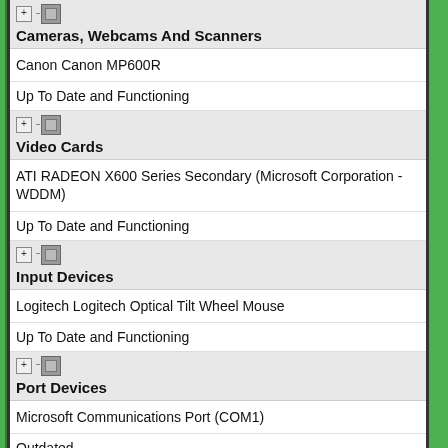Cameras, Webcams And Scanners
Canon Canon MP600R
Up To Date and Functioning
Video Cards
ATI RADEON X600 Series Secondary (Microsoft Corporation - WDDM)
Up To Date and Functioning
Input Devices
Logitech Logitech Optical Tilt Wheel Mouse
Up To Date and Functioning
Port Devices
Microsoft Communications Port (COM1)
Outdated
Monitors